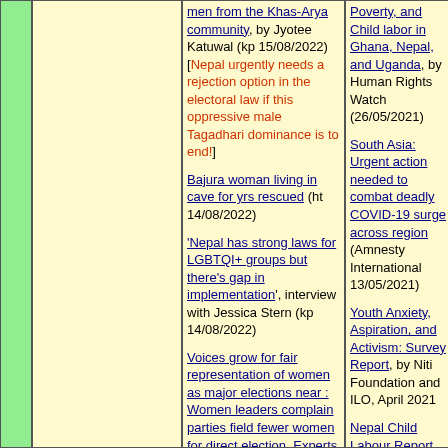men from the Khas-Arya community, by Jyotee Katuwal (kp 15/08/2022) [Nepal urgently needs a rejection option in the electoral law if this oppressive male Tagadhari dominance is to end!]
Bajura woman living in cave for yrs rescued (ht 14/08/2022)
'Nepal has strong laws for LGBTQI+ groups but there's gap in implementation', interview with Jessica Stern (kp 14/08/2022)
Voices grow for fair representation of women as major elections near : Women leaders complain parties field fewer women for direct election. Experts blame the patriarchal mindset, by Nishan Khatiwada (kp 13/08/2022)
Forgetting to remember : Proposed amendments to Nepal's
Poverty, and Child labor in Ghana, Nepal, and Uganda, by Human Rights Watch (26/05/2021)
South Asia: Urgent action needed to combat deadly COVID-19 surge across region (Amnesty International 13/05/2021)
Youth Anxiety, Aspiration, and Activism: Survey Report, by Niti Foundation and ILO, April 2021
Nepal Child Labour Report 2021, by International